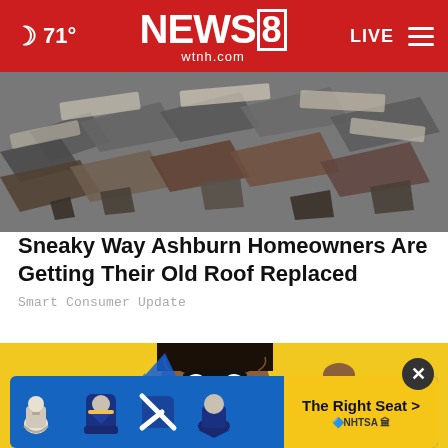☽ 71°  NEWS 8  wtnh.com  LIVE
[Figure (photo): Aerial view of old broken roof shingles and debris]
Sneaky Way Ashburn Homeowners Are Getting Their Old Roof Replaced
Smart Consumer Update
[Figure (photo): Young man with surprised expression on yellow background pointing finger up]
[Figure (infographic): NHTSA car seat safety advertisement banner: The Right Seat > with car seat icons on blue background]